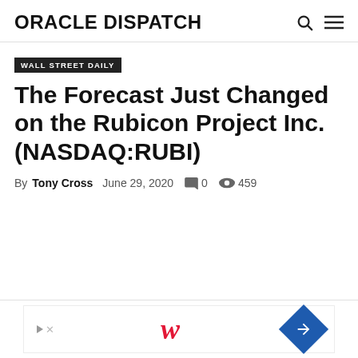ORACLE DISPATCH
WALL STREET DAILY
The Forecast Just Changed on the Rubicon Project Inc. (NASDAQ:RUBI)
By Tony Cross   June 29, 2020   0   459
[Figure (other): Advertisement banner with Walgreens logo and navigation arrow icon]